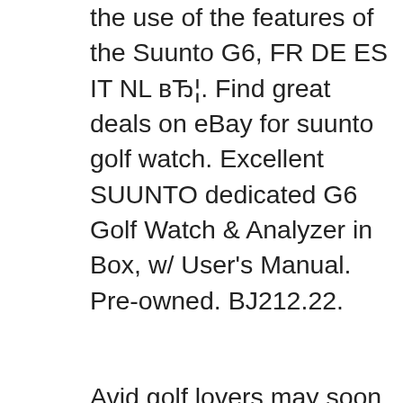the use of the features of the Suunto G6, FR DE ES IT NL вЂ¦. Find great deals on eBay for suunto golf watch. Excellent SUUNTO dedicated G6 Golf Watch & Analyzer in Box, w/ User's Manual. Pre-owned. BJ212.22.
Avid golf lovers may soon be in a position to improve their golf swings with a new device that is available in the form of a watch, called the Suunto G6... Shop the latest golf GPS watches from top brands like Garmin & Bushnell at Golf Galaxy. Use a GPS watch to enhance your game & knowledge of вЂ¦
Shop the entire line of Garmin Golf GPS watches and handheld golf GPS units